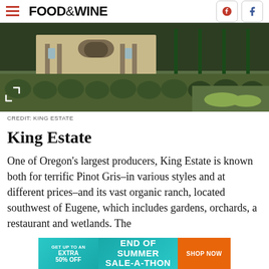FOOD & WINE
[Figure (photo): Exterior view of King Estate winery with ornate archway entrance, surrounded by lush green landscaped grounds, rows of decorative shrubs and gardens in the foreground.]
CREDIT: KING ESTATE
King Estate
One of Oregon's largest producers, King Estate is known both for terrific Pinot Gris–in various styles and at different prices–and its vast organic ranch, located southwest of Eugene, which includes gardens, orchards, a restaurant and wetlands. The
[Figure (infographic): Advertisement banner: GET UP TO AN EXTRA 50% OFF | END OF SUMMER SALE-A-THON | SHOP NOW]